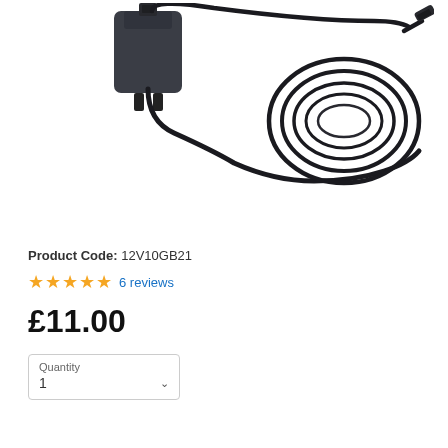[Figure (photo): Product photo of a black 12V DC power adapter/charger with coiled cable and USB connector on a white background]
Product Code: 12V10GB21
★★★★★ 6 reviews
£11.00
Quantity
1